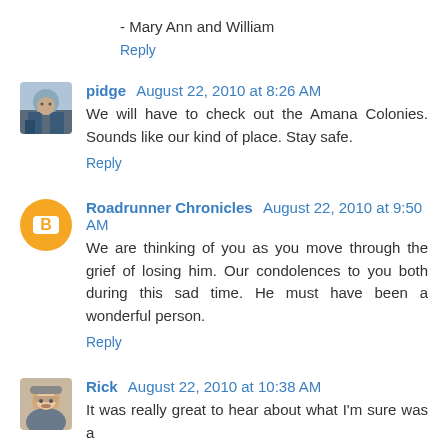- Mary Ann and William
Reply
pidge  August 22, 2010 at 8:26 AM
We will have to check out the Amana Colonies. Sounds like our kind of place. Stay safe.
Reply
Roadrunner Chronicles  August 22, 2010 at 9:50 AM
We are thinking of you as you move through the grief of losing him. Our condolences to you both during this sad time. He must have been a wonderful person.
Reply
Rick  August 22, 2010 at 10:38 AM
It was really great to hear about what I'm sure was a